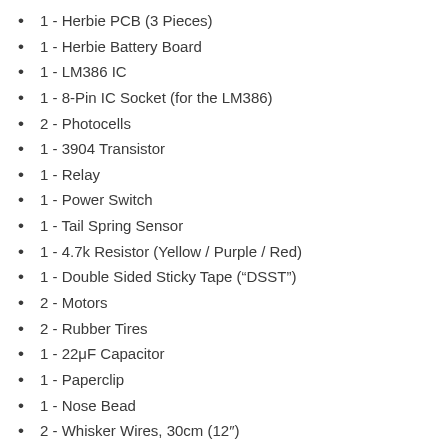1 - Herbie PCB (3 Pieces)
1 - Herbie Battery Board
1 - LM386 IC
1 - 8-Pin IC Socket (for the LM386)
2 - Photocells
1 - 3904 Transistor
1 - Relay
1 - Power Switch
1 - Tail Spring Sensor
1 - 4.7k Resistor (Yellow / Purple / Red)
1 - Double Sided Sticky Tape (“DSST”)
2 - Motors
2 - Rubber Tires
1 - 22μF Capacitor
1 - Paperclip
1 - Nose Bead
2 - Whisker Wires, 30cm (12″)
1 - Heat Shrink, 1/4″ length of 1/8″ dia.
Soldering and tools required but not included:
Basic Soldering Equipment
Eye protection (goggles)
Needle-nose pliers